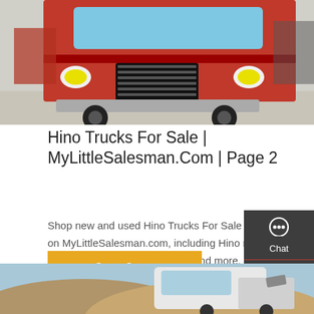[Figure (photo): Red Hino trucks parked in a lot, front view showing grille and cab]
Hino Trucks For Sale | MyLittleSalesman.Com | Page 2
Shop new and used Hino Trucks For Sale near you on MyLittleSalesman.com, including Hino models 338, 268, 155, 238, L6, 258LP, and more. Page 2 of Hino Trucks listings.
[Figure (screenshot): Sidebar with Chat, Email, Contact, and Top navigation icons on dark grey background]
Get a Quote
[Figure (photo): White Hino truck cab against blue sky with brown hills in background]